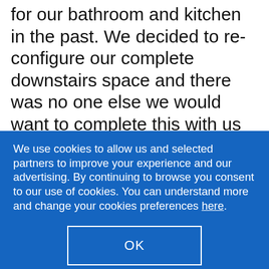for our bathroom and kitchen in the past. We decided to re-configure our complete downstairs space and there was no one else we would want to complete this with us but Oldfield's. From the design, to the choosing of the kitchen/floor etc was easy - nothing was too much trouble for Richard and Sam and their suggestions/ideas were gratefully received. What we found most impressive was the project management of the whole thing from the
We use cookies to allow us and selected partners to improve your experience and our advertising. By continuing to browse you consent to our use of cookies. You can understand more and change your cookies preferences here.